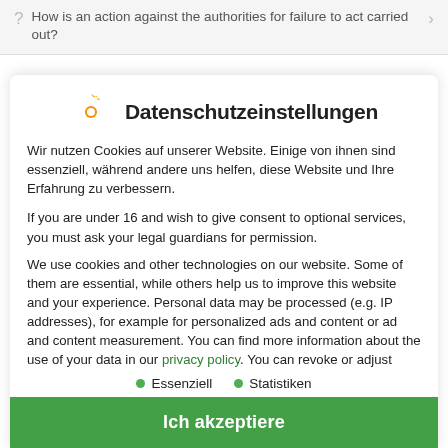How is an action against the authorities for failure to act carried out?
Datenschutzeinstellungen
Wir nutzen Cookies auf unserer Website. Einige von ihnen sind essenziell, während andere uns helfen, diese Website und Ihre Erfahrung zu verbessern.
If you are under 16 and wish to give consent to optional services, you must ask your legal guardians for permission.
We use cookies and other technologies on our website. Some of them are essential, while others help us to improve this website and your experience. Personal data may be processed (e.g. IP addresses), for example for personalized ads and content or ad and content measurement. You can find more information about the use of your data in our privacy policy. You can revoke or adjust your
Essenziell
Statistiken
Ich akzeptiere